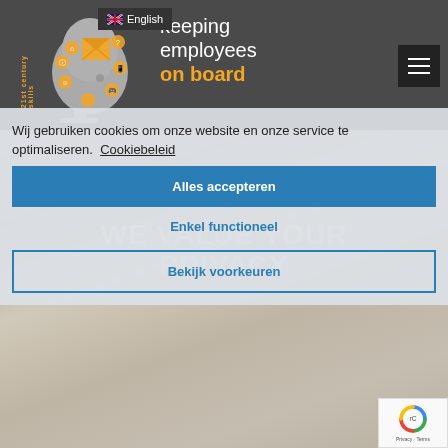keeping employees on board
English
[Figure (logo): Brain silhouette illustration with skill icons, '21st century skills' vertical text, logo for 'keeping employees on board' website]
Wij gebruiken cookies om onze website en onze service te optimaliseren.  Cookiebeleid
WE VALUE YOUR PRIVACY
Alles accepteren
Enkel functioneel
Bekijk voorkeuren